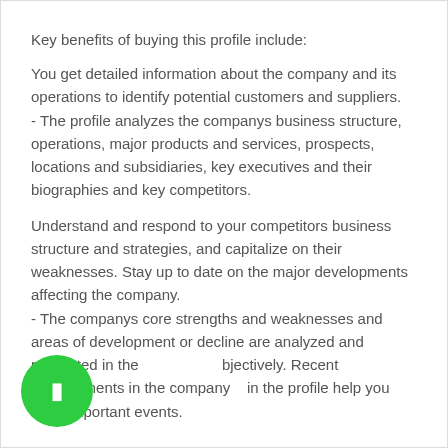Key benefits of buying this profile include:
You get detailed information about the company and its operations to identify potential customers and suppliers.
- The profile analyzes the companys business structure, operations, major products and services, prospects, locations and subsidiaries, key executives and their biographies and key competitors.
Understand and respond to your competitors business structure and strategies, and capitalize on their weaknesses. Stay up to date on the major developments affecting the company.
- The companys core strengths and weaknesses and areas of development or decline are analyzed and presented in the objectively. Recent developments in the company in the profile help you track important events.
[Figure (other): Green circular button with a white symbol in the bottom-left corner]